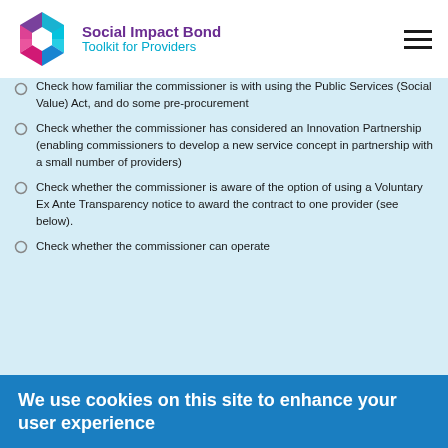Social Impact Bond Toolkit for Providers
Check how familiar the commissioner is with using the Public Services (Social Value) Act, and do some pre-procurement
Check whether the commissioner has considered an Innovation Partnership (enabling commissioners to develop a new service concept in partnership with a small number of providers)
Check whether the commissioner is aware of the option of using a Voluntary Ex Ante Transparency notice to award the contract to one provider (see below).
Check whether the commissioner can operate
We use cookies on this site to enhance your user experience
By clicking any link on this page you are giving your consent for us to set cookies.